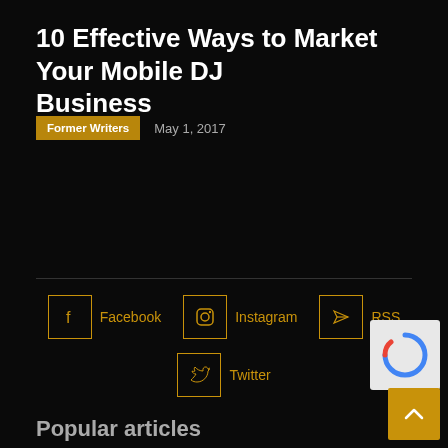10 Effective Ways to Market Your Mobile DJ Business
Former Writers   May 1, 2017
[Figure (infographic): Social media links row: Facebook, Instagram, RSS icons and labels in gold on black background. Second row: Twitter icon and label.]
Popular articles